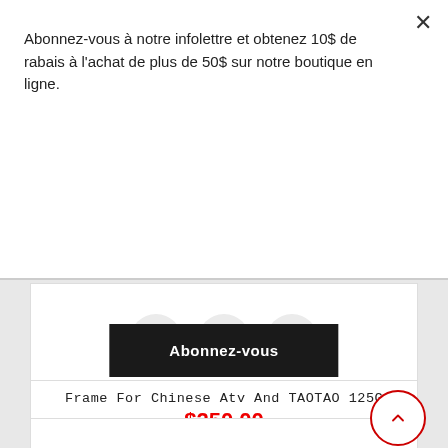Abonnez-vous à notre infolettre et obtenez 10$ de rabais à l'achat de plus de 50$ sur notre boutique en ligne.
Abonnez-vous
Frame For Chinese Atv And TAOTAO 125G
$250.00